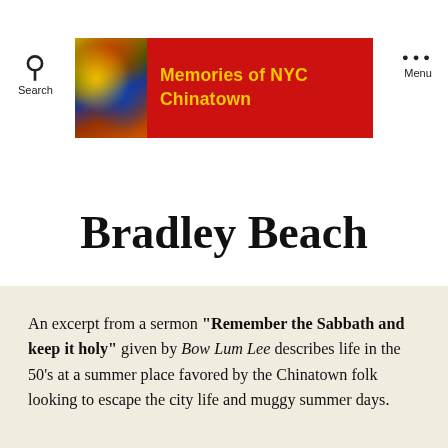Search | Memories of NYC Chinatown | Menu
Bradley Beach
An excerpt from a sermon "Remember the Sabbath and keep it holy" given by Bow Lum Lee describes life in the 50's at a summer place favored by the Chinatown folk looking to escape the city life and muggy summer days.